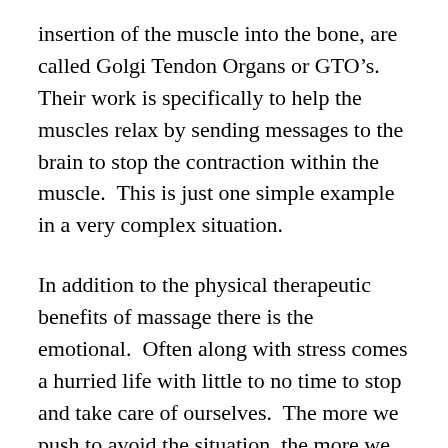insertion of the muscle into the bone, are called Golgi Tendon Organs or GTO’s.  Their work is specifically to help the muscles relax by sending messages to the brain to stop the contraction within the muscle.  This is just one simple example in a very complex situation.
In addition to the physical therapeutic benefits of massage there is the emotional.  Often along with stress comes a hurried life with little to no time to stop and take care of ourselves.  The more we push to avoid the situation, the more we create the havoc.  Therefore by allowing oneself time to rest and receive nurturing touch from a professional becomes a necessity rather than a luxury.